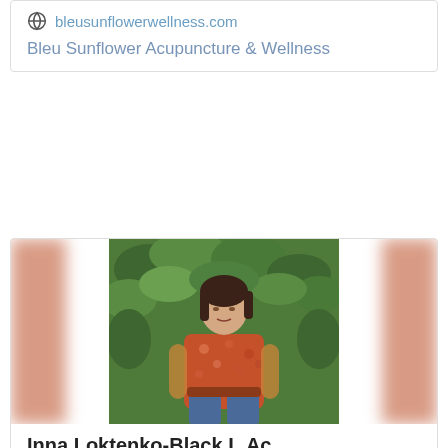bleusunflowerwellness.com
Bleu Sunflower Acupuncture & Wellness
[Figure (photo): Portrait photo of a woman with dark hair wearing a red floral blouse, standing in front of green leafy foliage]
Inna Loktenko-Black L.Ac.
3737 Telegraph Rd, Suite E, Ventura CA 93003